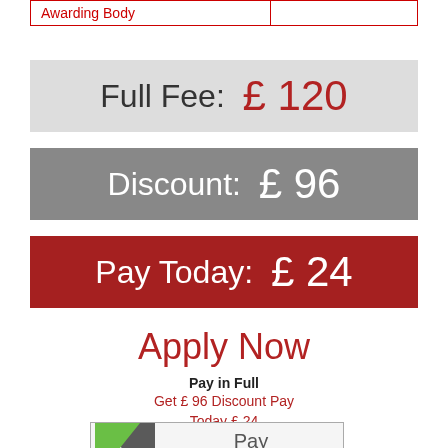| Awarding Body |  |
| --- | --- |
|  |  |
Full Fee:  £ 120
Discount:  £ 96
Pay Today:  £ 24
Apply Now
Pay in Full
Get £ 96 Discount Pay Today £ 24
[Figure (other): Payment button with green/grey triangle logo on left, 'Pay' text, and credit card icons (Visa, Mastercard, Amex, Discover)]